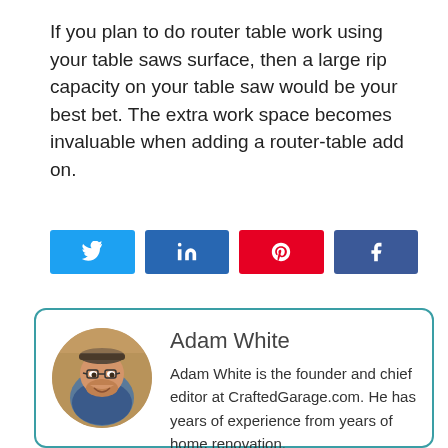If you plan to do router table work using your table saws surface, then a large rip capacity on your table saw would be your best bet. The extra work space becomes invaluable when adding a router-table add on.
[Figure (other): Social sharing buttons: Twitter (light blue), LinkedIn (dark blue), Pinterest (red), Facebook (dark blue)]
[Figure (photo): Circular profile photo of Adam White, a man with glasses and a beard]
Adam White
Adam White is the founder and chief editor at CraftedGarage.com. He has years of experience from years of home renovation.